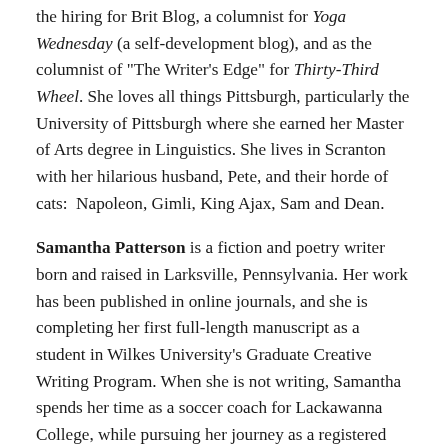the hiring for Brit Blog, a columnist for Yoga Wednesday (a self-development blog), and as the columnist of "The Writer's Edge" for Thirty-Third Wheel. She loves all things Pittsburgh, particularly the University of Pittsburgh where she earned her Master of Arts degree in Linguistics. She lives in Scranton with her hilarious husband, Pete, and their horde of cats:  Napoleon, Gimli, King Ajax, Sam and Dean.
Samantha Patterson is a fiction and poetry writer born and raised in Larksville, Pennsylvania. Her work has been published in online journals, and she is completing her first full-length manuscript as a student in Wilkes University's Graduate Creative Writing Program. When she is not writing, Samantha spends her time as a soccer coach for Lackawanna College, while pursuing her journey as a registered yoga